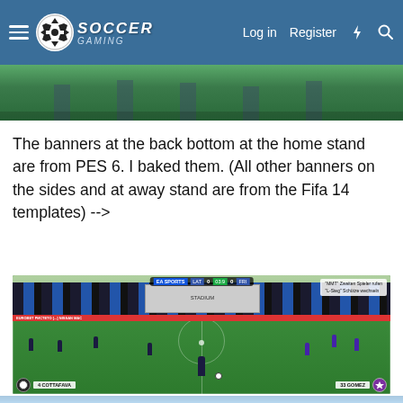Soccer Gaming — Log in  Register
[Figure (screenshot): Top partial screenshot of a football video game stadium view, partially cropped]
The banners at the back bottom at the home stand are from PES 6. I baked them. (All other banners on the sides and at away stand are from the Fifa 14 templates) -->
[Figure (screenshot): Screenshot of a football video game (FIFA/PES) showing a stadium view with players on the pitch, scoreboard showing LAT 0 - 0 FRI at 03:9, player indicators showing 4 COTTAFAVA and 33 GOMEZ, stadium stands with blue and black banners, and sponsor banners along the pitch side]
[Figure (screenshot): Bottom partial screenshot of a sky/clouds scene, partially cropped at bottom of page]